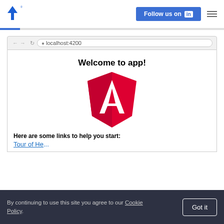[Figure (logo): Toptal-style arrow logo in blue, top-left header]
[Figure (infographic): Blue LinkedIn Follow us on button in header]
[Figure (screenshot): Browser address bar showing localhost:4200]
Welcome to app!
[Figure (logo): Angular red shield logo with white A letter]
Here are some links to help you start:
By continuing to use this site you agree to our Cookie Policy.
[Figure (infographic): Got it button in cookie banner]